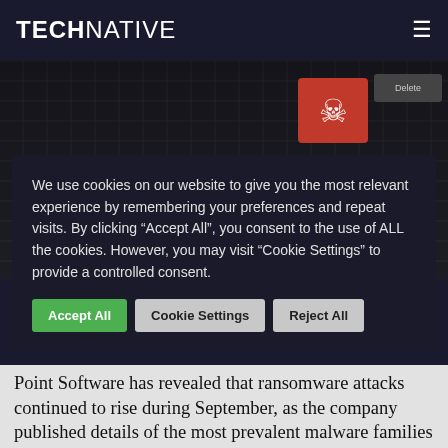TECHNATIVE
Ransomware variants are now the top three most common malware
We use cookies on our website to give you the most relevant experience by remembering your preferences and repeat visits. By clicking “Accept All”, you consent to the use of ALL the cookies. However, you may visit “Cookie Settings” to provide a controlled consent.
Point Software has revealed that ransomware attacks continued to rise during September, as the company published details of the most prevalent malware families attacking organisations’ networks in the period.